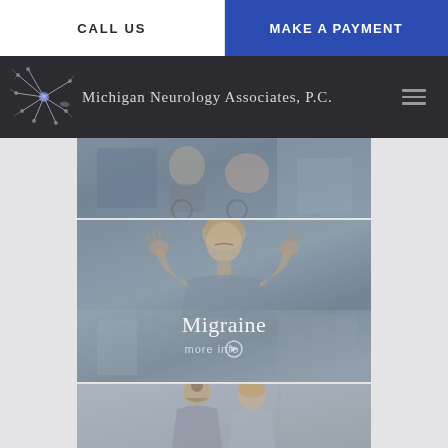CALL US
MAKE A PAYMENT
[Figure (logo): Michigan Neurology Associates, P.C. logo with neuron graphic on dark navigation bar]
[Figure (photo): Partial photo of person in wheelchair, cropped at top]
[Figure (photo): Woman holding her head in pain representing migraine, with overlay text 'Migraine' and 'more info' link]
Migraine
more info
[Figure (photo): Two people, appears to be a doctor and patient consultation, partially visible at bottom]